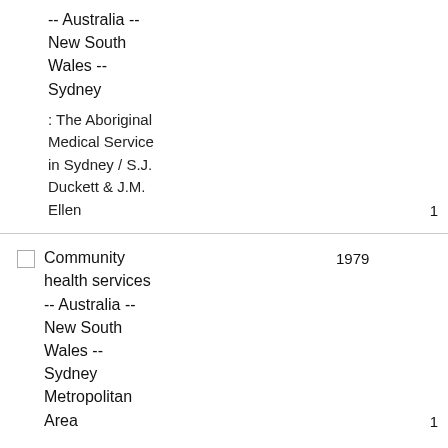-- Australia -- New South Wales -- Sydney : The Aboriginal Medical Service in Sydney / S.J. Duckett & J.M. Ellen  1
Community health services -- Australia -- New South Wales -- Sydney Metropolitan Area  1979  1